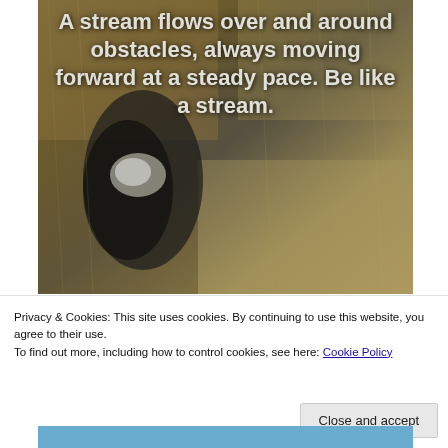[Figure (photo): Aerial or close-up view of a stream flowing through dry grass and earth. The stream is visible as dark water with light reflections, surrounded by dried straw-colored grass and dark soil. White italic/bold text overlay reads: 'A stream flows over and around obstacles, always moving forward at a steady pace. Be like a stream.']
Privacy & Cookies: This site uses cookies. By continuing to use this website, you agree to their use.
To find out more, including how to control cookies, see here: Cookie Policy
Close and accept